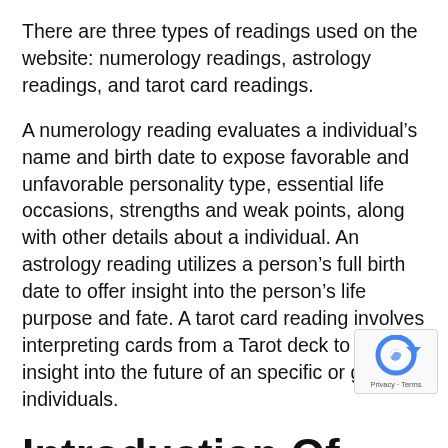There are three types of readings used on the website: numerology readings, astrology readings, and tarot card readings.
A numerology reading evaluates a individual's name and birth date to expose favorable and unfavorable personality type, essential life occasions, strengths and weak points, along with other details about a individual. An astrology reading utilizes a person's full birth date to offer insight into the person's life purpose and fate. A tarot card reading involves interpreting cards from a Tarot deck to provide insight into the future of an specific or group of individuals.
[Figure (logo): reCAPTCHA badge with a circular arrow icon in blue, and 'Privacy - Terms' text below]
Introduction Of